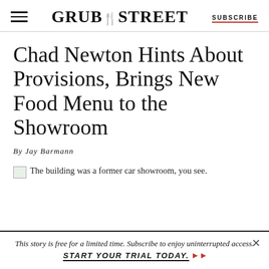GRUB STREET | SUBSCRIBE
Chad Newton Hints About Provisions, Brings New Food Menu to the Showroom
By Jay Barmann
The building was a former car showroom, you see.
This story is free for a limited time. Subscribe to enjoy uninterrupted access. START YOUR TRIAL TODAY.